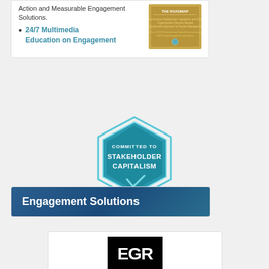Action and Measurable Engagement Solutions.
24/7 Multimedia Education on Engagement
[Figure (illustration): Book cover thumbnail for 'The Roadmap' related to stakeholder engagement]
[Figure (logo): Hexagonal badge reading 'COMMITTED TO STAKEHOLDER CAPITALISM' in teal/cyan colors with a checkmark]
Engagement Solutions
[Figure (logo): EGR logo - white letters 'EGR' on black square background]